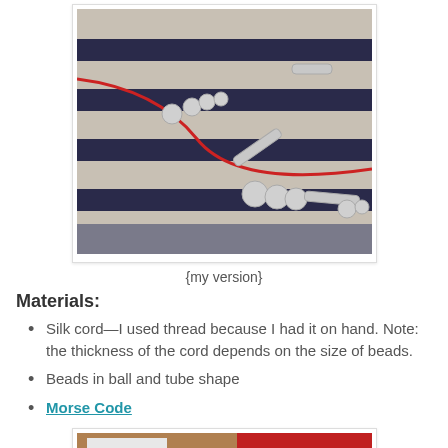[Figure (photo): Close-up photo of a Morse code necklace with silver ball and tube beads on a red silk cord, laid on a striped fabric background.]
{my version}
Materials:
Silk cord—I used thread because I had it on hand. Note: the thickness of the cord depends on the size of beads.
Beads in ball and tube shape
Morse Code
[Figure (photo): Partially visible photo at the bottom showing craft supplies including what appears to be findings and red fabric.]